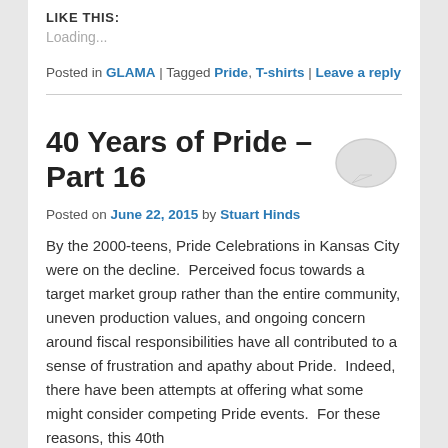LIKE THIS:
Loading...
Posted in GLAMA | Tagged Pride, T-shirts | Leave a reply
40 Years of Pride – Part 16
Posted on June 22, 2015 by Stuart Hinds
By the 2000-teens, Pride Celebrations in Kansas City were on the decline.  Perceived focus towards a target market group rather than the entire community, uneven production values, and ongoing concern around fiscal responsibilities have all contributed to a sense of frustration and apathy about Pride.  Indeed, there have been attempts at offering what some might consider competing Pride events.  For these reasons, this 40th